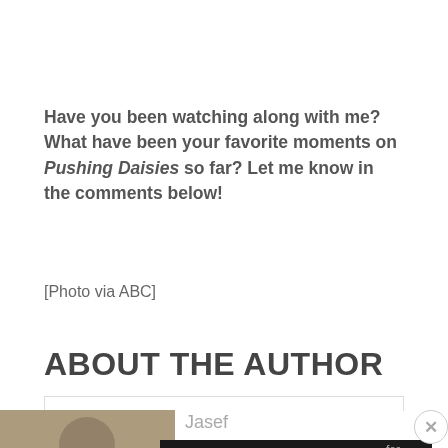Have you been watching along with me? What have been your favorite moments on Pushing Daisies so far? Let me know in the comments below!
[Photo via ABC]
ABOUT THE AUTHOR
[Figure (screenshot): Author box with photo placeholder labeled 'Jasef' and a BitLife advertisement overlay showing 'Murder Do it!' with a blue button]
Jasef